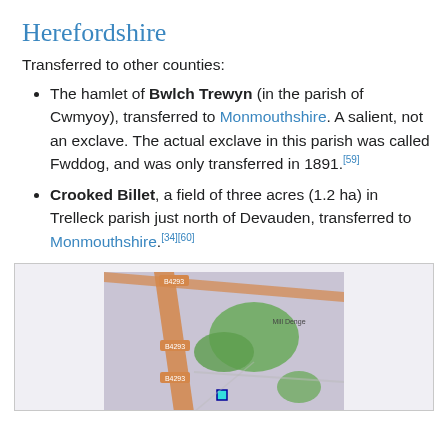Herefordshire
Transferred to other counties:
The hamlet of Bwlch Trewyn (in the parish of Cwmyoy), transferred to Monmouthshire. A salient, not an exclave. The actual exclave in this parish was called Fwddog, and was only transferred in 1891.[59]
Crooked Billet, a field of three acres (1.2 ha) in Trelleck parish just north of Devauden, transferred to Monmouthshire.[34][60]
[Figure (map): A map showing the area around Devauden in Monmouthshire, with roads B4293 marked and green areas indicating woodland/fields, and a small highlighted square near the bottom center.]